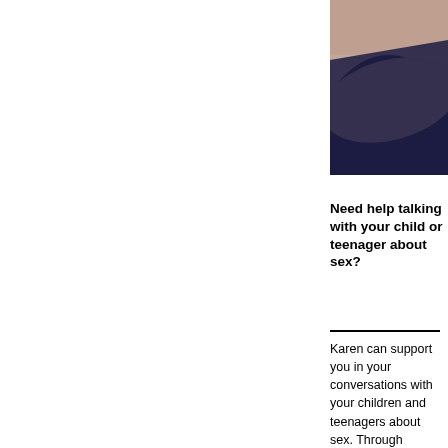[Figure (photo): Partial photo of a person wearing a dark navy top, visible from shoulder/neck area, cropped at top-right of page]
Need help talking with your child or teenager about sex?
Karen can support you in your conversations with your children and teenagers about sex. Through classes or individual